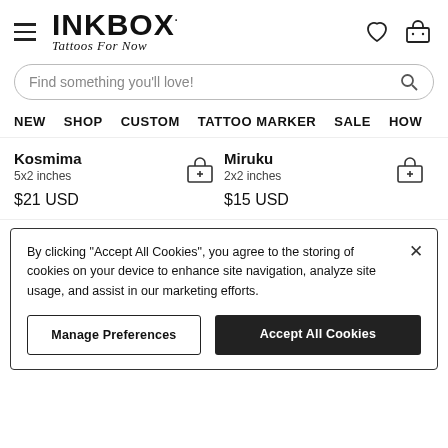[Figure (logo): Inkbox logo with tagline 'Tattoos For Now']
Find something you'll love!
NEW  SHOP  CUSTOM  TATTOO MARKER  SALE  HOW
Kosmima
5x2 inches
$21 USD
Miruku
2x2 inches
$15 USD
By clicking "Accept All Cookies", you agree to the storing of cookies on your device to enhance site navigation, analyze site usage, and assist in our marketing efforts.
Manage Preferences
Accept All Cookies